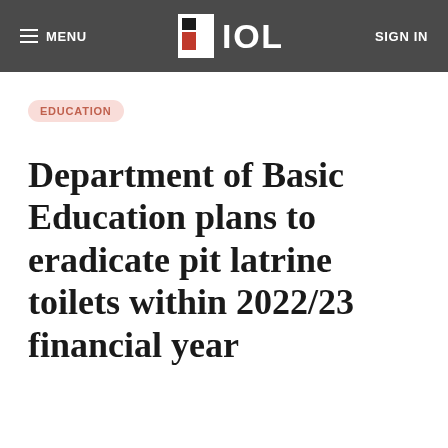MENU | IOL | SIGN IN
EDUCATION
Department of Basic Education plans to eradicate pit latrine toilets within 2022/23 financial year